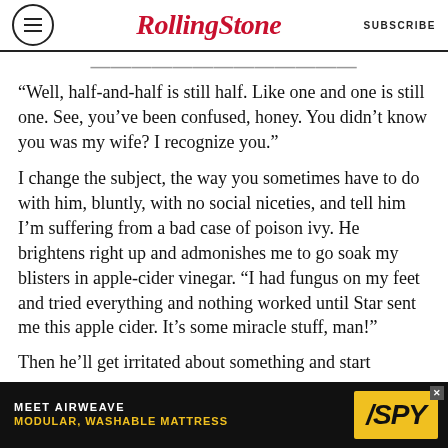Rolling Stone | SUBSCRIBE
“Well, half-and-half is still half. Like one and one is still one. See, you’ve been confused, honey. You didn’t know you was my wife? I recognize you.”
I change the subject, the way you sometimes have to do with him, bluntly, with no social niceties, and tell him I’m suffering from a bad case of poison ivy. He brightens right up and admonishes me to go soak my blisters in apple-cider vinegar. “I had fungus on my feet and tried everything and nothing worked until Star sent me this apple cider. It’s some miracle stuff, man!”
Then he’ll get irritated about something and start...
[Figure (advertisement): MEET AIRWEAVE MODULAR, WASHABLE MATTRESS advertisement with SPY logo on yellow background]